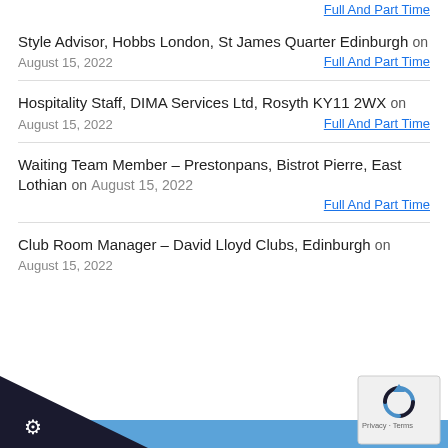Style Advisor, Hobbs London, St James Quarter Edinburgh on August 15, 2022 Full And Part Time
Hospitality Staff, DIMA Services Ltd, Rosyth KY11 2WX on August 15, 2022 Full And Part Time
Waiting Team Member – Prestonpans, Bistrot Pierre, East Lothian on August 15, 2022 Full And Part Time
Club Room Manager – David Lloyd Clubs, Edinburgh on August 15, 2022
[Figure (screenshot): Website footer with dark navy triangle on lower left, blue bar across bottom, gear/settings icon in white, and reCAPTCHA widget in lower right]